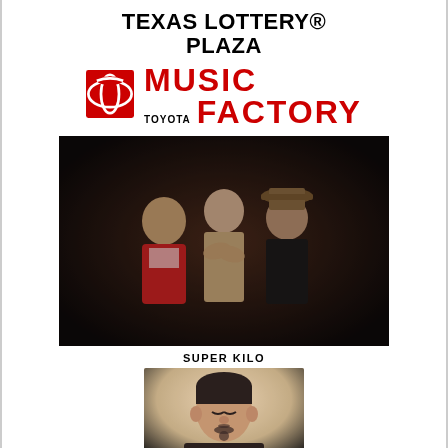TEXAS LOTTERY® PLAZA
[Figure (logo): Toyota Music Factory logo with Toyota emblem and red 'MUSIC FACTORY' text]
[Figure (photo): Three men posed close together in a dark setting, band photo for Super Kilo]
SUPER KILO
[Figure (photo): Solo portrait of a man with short dark hair and a small beard, wearing a black shirt, eyes closed]